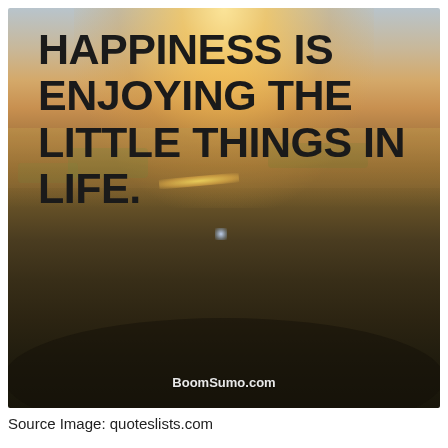[Figure (photo): Aerial drone photograph of a countryside town at sunset/golden hour. The sky is bright near the horizon with sun glare, transitioning to dark landscape below with fields, roads, buildings and trees visible from above. Bold text overlay reads 'HAPPINESS IS ENJOYING THE LITTLE THINGS IN LIFE.' and a watermark 'BoomSumo.com' at the bottom.]
Source Image: quoteslists.com